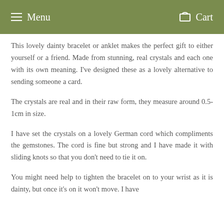Menu   Cart
This lovely dainty bracelet or anklet makes the perfect gift to either yourself or a friend. Made from stunning, real crystals and each one with its own meaning. I’ve designed these as a lovely alternative to sending someone a card.
The crystals are real and in their raw form, they measure around 0.5-1cm in size.
I have set the crystals on a lovely German cord which compliments the gemstones. The cord is fine but strong and I have made it with sliding knots so that you don’t need to tie it on.
You might need help to tighten the bracelet on to your wrist as it is dainty, but once it’s on it won’t move. I have